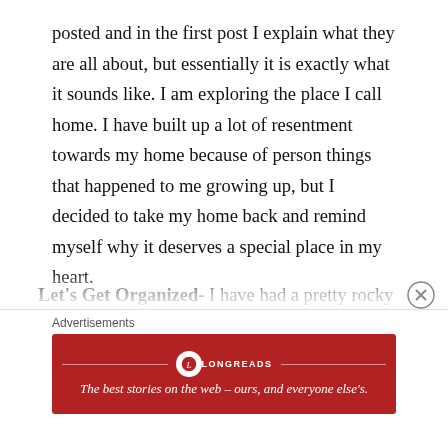posted and in the first post I explain what they are all about, but essentially it is exactly what it sounds like. I am exploring the place I call home. I have built up a lot of resentment towards my home because of person things that happened to me growing up, but I decided to take my home back and remind myself why it deserves a special place in my heart.
4. Let's Get Organized- I have had a pretty rocky relationship with organization, so I wanted to start this series to encourage myself and others to get organized. I feel like this series will probably just…
[Figure (other): Longreads advertisement banner: dark red background with Longreads logo and tagline 'The best stories on the web — ours, and everyone else's.']
Advertisements